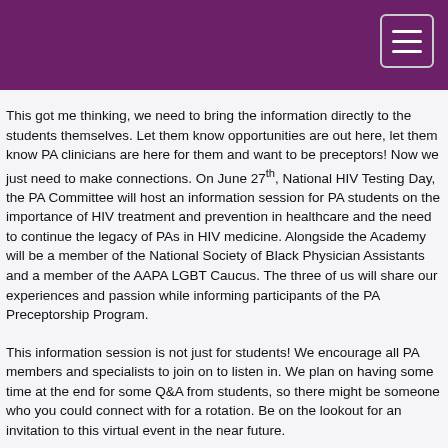This got me thinking, we need to bring the information directly to the students themselves. Let them know opportunities are out here, let them know PA clinicians are here for them and want to be preceptors! Now we just need to make connections. On June 27th, National HIV Testing Day, the PA Committee will host an information session for PA students on the importance of HIV treatment and prevention in healthcare and the need to continue the legacy of PAs in HIV medicine. Alongside the Academy will be a member of the National Society of Black Physician Assistants and a member of the AAPA LGBT Caucus. The three of us will share our experiences and passion while informing participants of the PA Preceptorship Program.
This information session is not just for students! We encourage all PA members and specialists to join on to listen in. We plan on having some time at the end for some Q&A from students, so there might be someone who you could connect with for a rotation. Be on the lookout for an invitation to this virtual event in the near future.